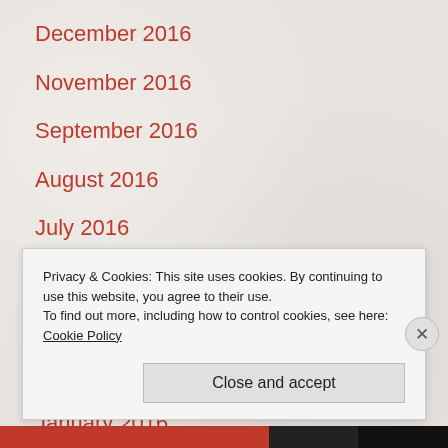December 2016
November 2016
September 2016
August 2016
July 2016
April 2016
March 2016
February 2016
January 2016
Privacy & Cookies: This site uses cookies. By continuing to use this website, you agree to their use. To find out more, including how to control cookies, see here: Cookie Policy
Close and accept